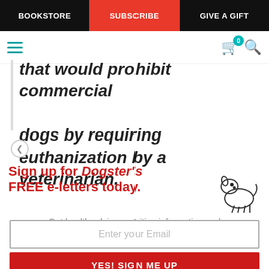BOOKSTORE | SUBSCRIBE | GIVE A GIFT
that would prohibit commercial dogs by requiring euthanization by a veterinarian.
[Figure (infographic): Sign up for Dogster's FREE e-letters today. Get health advice, nutrition information and training tips from our experts. It's FREE! Email input field and YES! SIGN ME UP button. Dog illustration on the right.]